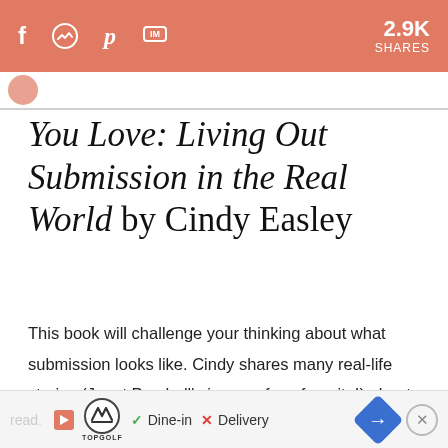f  [messenger]  p  [im]  2.9K SHARES
You Love: Living Out Submission in the Real World by Cindy Easley
This book will challenge your thinking about what submission looks like. Cindy shares many real-life stories (Janet Parshall's is one of my favorite!) about how submission has played out in other marriages. Destroying stereotypes and redefining submission, this is an excellent read.
read. [TopGolf ad] ✓ Dine-in ✗ Delivery [arrow] [x]